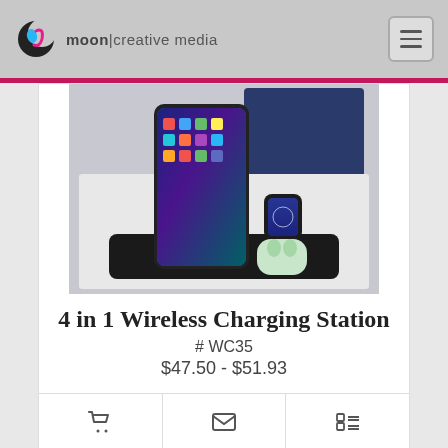moon|creative media
[Figure (photo): Product photo of a 4 in 1 wireless charging station showing an iPhone, Apple Watch, and AirPods charging simultaneously on a black charging pad]
4 in 1 Wireless Charging Station
# WC35
$47.50 - $51.93